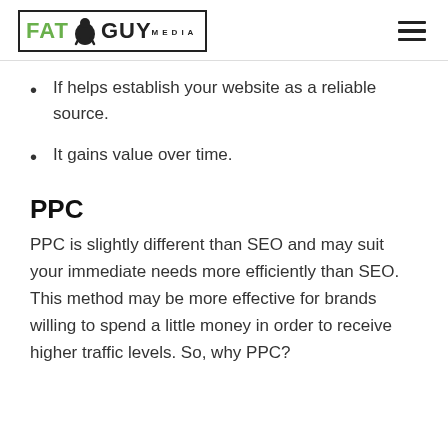FAT GUY MEDIA
If helps establish your website as a reliable source.
It gains value over time.
PPC
PPC is slightly different than SEO and may suit your immediate needs more efficiently than SEO. This method may be more effective for brands willing to spend a little money in order to receive higher traffic levels. So, why PPC?